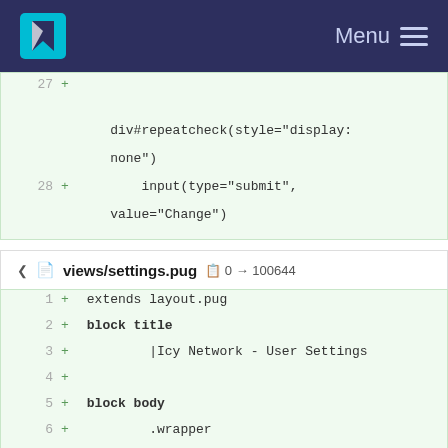Menu
27  +
    div#repeatcheck(style="display:none")
28  +
        input(type="submit", value="Change")
views/settings.pug  0 → 100644
1  + extends layout.pug
2  + block title
3  +         |Icy Network - User Settings
4  +
5  + block body
6  +         .wrapper
7  +                 .boxcont
8  +
   .box#settings
9  +                                             h1